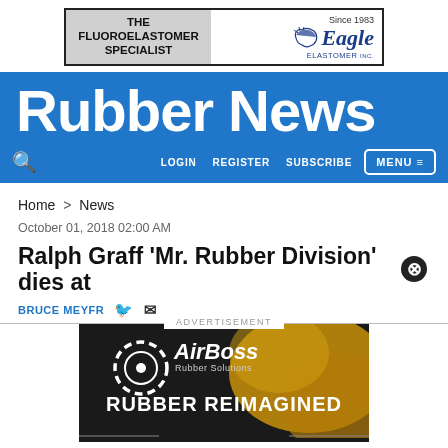[Figure (logo): Eagle Elastomer Inc. advertisement banner — 'The Fluoroelastomer Specialist Since 1983']
Rubber News
LOGIN   REGISTER   SUBSCRIBE   MENU
Home > News
October 01, 2018 02:00 AM
Ralph Graff 'Mr. Rubber Division' dies at
BRUCE MEYFR
[Figure (advertisement): AirBoss Rubber Solutions advertisement — 'RUBBER REIMAGINED' with AirBoss logo on dark background with yellow rubber imagery]